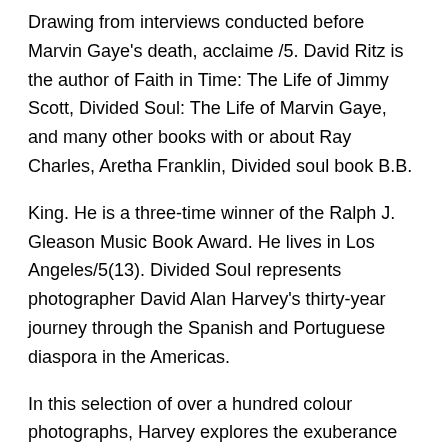Drawing from interviews conducted before Marvin Gaye's death, acclaime /5. David Ritz is the author of Faith in Time: The Life of Jimmy Scott, Divided Soul: The Life of Marvin Gaye, and many other books with or about Ray Charles, Aretha Franklin, Divided soul book B.B.
King. He is a three-time winner of the Ralph J. Gleason Music Book Award. He lives in Los Angeles/5(13). Divided Soul represents photographer David Alan Harvey's thirty-year journey through the Spanish and Portuguese diaspora in the Americas.
In this selection of over a hundred colour photographs, Harvey explores the exuberance and incongruities of a life and culture that hold for him an endless fascination/5(6). Divided Soul represents David Alan Harvey's year journey through the Spanish and Portuguese diaspora in the this stunning selection of more than colour photographs, Harvey explores the exuberance and incongruities of Hispanic life and culture that hold for him an endless fascination.
loved this book. Divided Soul is probably one of the great biographies of its time. 2 people found this helpful Overall 5 out of 5 stars